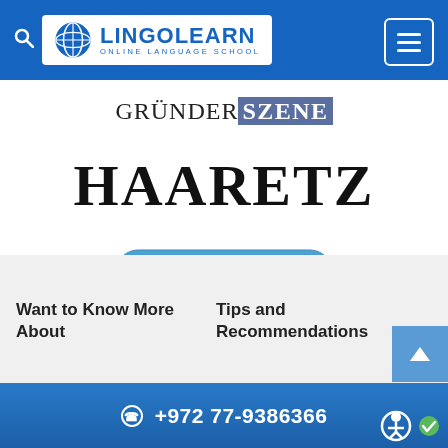[Figure (logo): LingoLearn Online Language School header with search icon, globe logo, brand name LINGOLEARN, subtitle ONLINE LANGUAGE SCHOOL, and hamburger menu button on blue background]
[Figure (logo): GRÜNDERSZENE logo with SZENE highlighted in dark blue/grey box]
[Figure (logo): HAARETZ large bold serif logo text]
[Figure (illustration): Blue rounded button with CONTACT US text and envelope/mail icon illustration]
Want to Know More About
Tips and Recommendations
+972 77-9386366